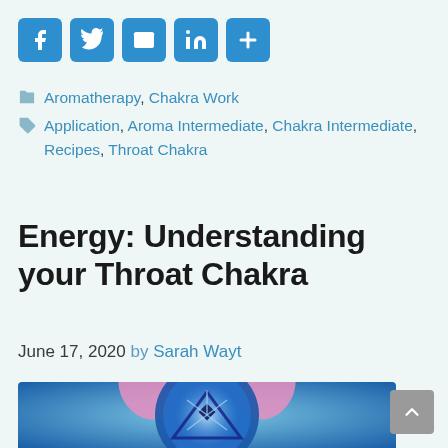[Figure (other): Social sharing buttons: Facebook, Twitter, Email, LinkedIn, More (+)]
Aromatherapy, Chakra Work
Application, Aroma Intermediate, Chakra Intermediate, Recipes, Throat Chakra
Energy: Understanding your Throat Chakra
June 17, 2020 by Sarah Wayt
[Figure (illustration): Throat Chakra mandala illustration — blue and pink geometric flower mandala with a dark blue inverted triangle and geometric symbol in the center, glowing blue light effects]